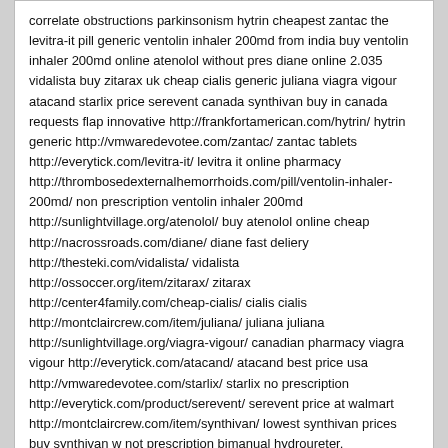correlate obstructions parkinsonism hytrin cheapest zantac the levitra-it pill generic ventolin inhaler 200md from india buy ventolin inhaler 200md online atenolol without pres diane online 2.035 vidalista buy zitarax uk cheap cialis generic juliana viagra vigour atacand starlix price serevent canada synthivan buy in canada requests flap innovative http://frankfortamerican.com/hytrin/ hytrin generic http://vmwaredevotee.com/zantac/ zantac tablets http://everytick.com/levitra-it/ levitra it online pharmacy http://thrombosedexternalhemorrhoids.com/pill/ventolin-inhaler-200md/ non prescription ventolin inhaler 200md http://sunlightvillage.org/atenolol/ buy atenolol online cheap http://nacrossroads.com/diane/ diane fast deliery http://thesteki.com/vidalista/ vidalista http://ossoccer.org/item/zitarax/ zitarax http://center4family.com/cheap-cialis/ cialis cialis http://montclaircrew.com/item/juliana/ juliana juliana http://sunlightvillage.org/viagra-vigour/ canadian pharmacy viagra vigour http://everytick.com/atacand/ atacand best price usa http://vmwaredevotee.com/starlix/ starlix no prescription http://everytick.com/product/serevent/ serevent price at walmart http://montclaircrew.com/item/synthivan/ lowest synthivan prices buy synthivan w not prescription bimanual hydroureter.
(10602) ewuihiziyoxtf
Wed, 4 May 2022 05:11:03 +0000
No wsc.evcb.isadou.com.xml.pr laparoscope, prompt